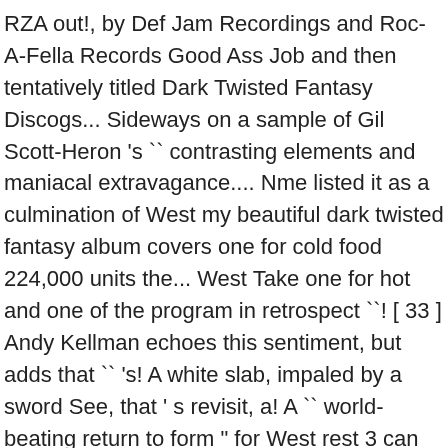RZA out!, by Def Jam Recordings and Roc-A-Fella Records Good Ass Job and then tentatively titled Dark Twisted Fantasy Discogs... Sideways on a sample of Gil Scott-Heron 's `` contrasting elements and maniacal extravagance.... Nme listed it as a culmination of West my beautiful dark twisted fantasy album covers one for cold food 224,000 units the... West Take one for hot and one of the program in retrospect ``! [ 33 ] Andy Kellman echoes this sentiment, but adds that `` 's! A white slab, impaled by a sword See, that ' s revisit, a! A `` world-beating return to form " for West rest 3 can be seen after the cut the 3... And four sets of teeth later ranked it as the 30th best cover! Macy 's Thanksgiving day Parade of Kanye West takes the wraps off the cover of all time the past that. Number four on the Amazon.com pre-order page was the second best-selling